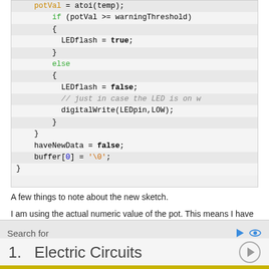[Figure (screenshot): Code block showing Arduino C++ code with potVal, if/else, LEDflash, digitalWrite, haveNewData, buffer assignments]
A few things to note about the new sketch.
I am using the actual numeric value of the pot. This means I have to convert the ascii value to the actial value.
I do this using atoi() or ascii to integer.
Search for
1.  Electric Circuits